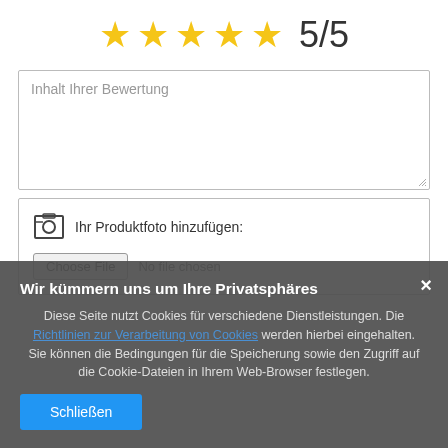[Figure (other): Five gold star rating icons followed by '5/5' text, indicating a perfect rating]
Inhalt Ihrer Bewertung
[Figure (other): File upload section with photo icon, label 'Ihr Produktfoto hinzufügen:', and a 'Choose File' button with 'No file chosen' text]
Wir kümmern uns um Ihre Privatsphäres
Diese Seite nutzt Cookies für verschiedene Dienstleistungen. Die Richtlinien zur Verarbeitung von Cookies werden hierbei eingehalten. Sie können die Bedingungen für die Speicherung sowie den Zugriff auf die Cookie-Dateien in Ihrem Web-Browser festlegen.
Schließen